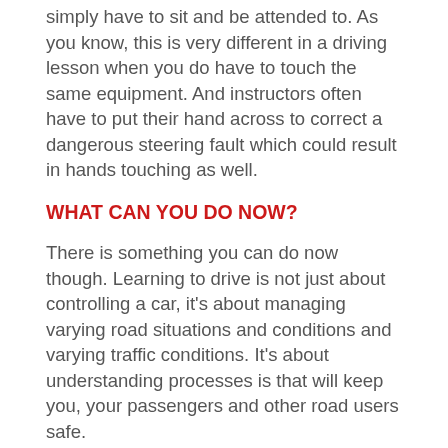simply have to sit and be attended to. As you know, this is very different in a driving lesson when you do have to touch the same equipment. And instructors often have to put their hand across to correct a dangerous steering fault which could result in hands touching as well.
WHAT CAN YOU DO NOW?
There is something you can do now though. Learning to drive is not just about controlling a car, it's about managing varying road situations and conditions and varying traffic conditions. It's about understanding processes is that will keep you, your passengers and other road users safe.
When you first start to learn to drive, controlling a vehicle may seem like the hardest thing to do. There is so much to think and about and focus on. But after a few weeks, controlling the car becomes the easy part of driving. You will start to develop muscle memory; you won't have to think about what your hands and feet are doing. Muscle memory refers to your body simply knowing what to do